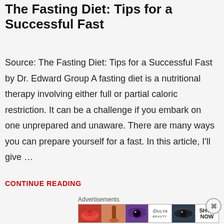The Fasting Diet: Tips for a Successful Fast
Source: The Fasting Diet: Tips for a Successful Fast by Dr. Edward Group A fasting diet is a nutritional therapy involving either full or partial caloric restriction. It can be a challenge if you embark on one unprepared and unaware. There are many ways you can prepare yourself for a fast. In this article, I'll give …
CONTINUE READING
Advertisements
[Figure (photo): Advertisement banner showing beauty/makeup images including lips, makeup brush, eye makeup, ULTA beauty logo, eyes, and SHOP NOW text]